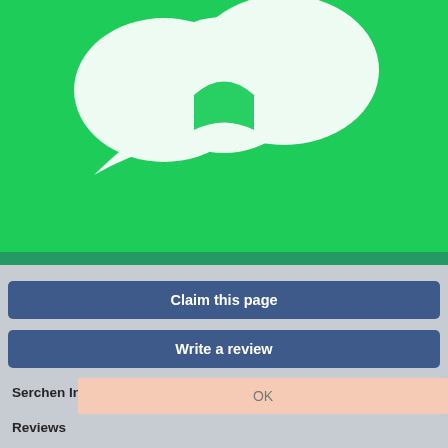[Figure (screenshot): Green background with white chat/cloud icon logo at top center]
We use cookies to ensure you get the best experience on our website. By continuing to use this website, we assume that it's OK.
Learn more
Claim this page
Write a review
Serchen Index
OK
Reviews